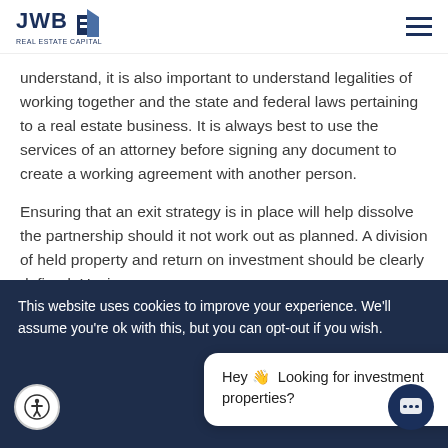JWB Real Estate Capital
understand, it is also important to understand legalities of working together and the state and federal laws pertaining to a real estate business. It is always best to use the services of an attorney before signing any document to create a working agreement with another person.
Ensuring that an exit strategy is in place will help dissolve the partnership should it not work out as planned. A division of held property and return on investment should be clearly defined. Having a
This website uses cookies to improve your experience. We'll assume you're ok with this, but you can opt-out if you wish.
Hey 👋 Looking for investment properties?